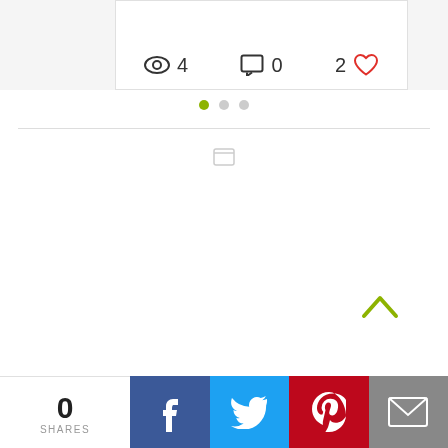[Figure (screenshot): Card UI element showing eye icon with count 4, comment icon with count 0, and heart icon with count 2]
[Figure (infographic): Pagination dots: one active olive/green dot and two grey dots]
[Figure (infographic): Small grey icon in the center of the page]
[Figure (infographic): Olive/green upward chevron arrow in the right area]
[Figure (infographic): Social share bar at the bottom: 0 SHARES label, Facebook button, Twitter button, Pinterest button, Email button]